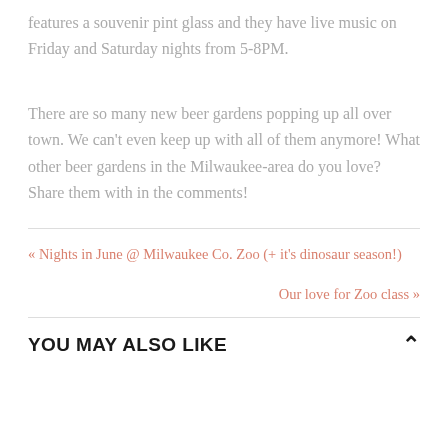features a souvenir pint glass and they have live music on Friday and Saturday nights from 5-8PM.
There are so many new beer gardens popping up all over town. We can't even keep up with all of them anymore! What other beer gardens in the Milwaukee-area do you love? Share them with in the comments!
« Nights in June @ Milwaukee Co. Zoo (+ it's dinosaur season!)
Our love for Zoo class »
YOU MAY ALSO LIKE